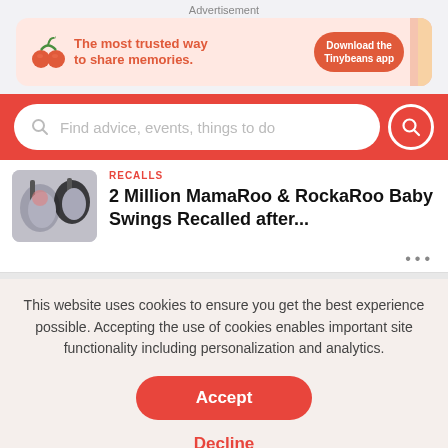Advertisement
[Figure (screenshot): Tinybeans app advertisement banner: red/pink background with cherry icon, text 'The most trusted way to share memories.' and a red 'Download the Tinybeans app' button]
[Figure (screenshot): Red search bar with placeholder text 'Find advice, events, things to do' and a red circular search button on the right]
RECALLS
2 Million MamaRoo & RockaRoo Baby Swings Recalled after...
[Figure (photo): Photo of MamaRoo baby swing chairs]
This website uses cookies to ensure you get the best experience possible. Accepting the use of cookies enables important site functionality including personalization and analytics.
Accept
Decline